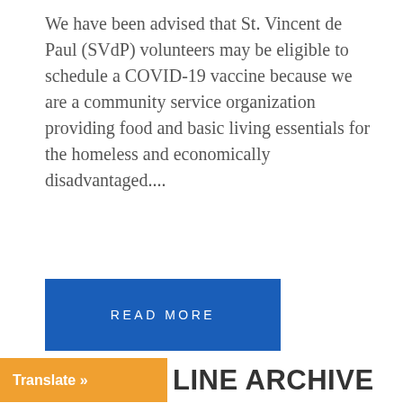We have been advised that St. Vincent de Paul (SVdP) volunteers may be eligible to schedule a COVID-19 vaccine because we are a community service organization providing food and basic living essentials for the homeless and economically disadvantaged....
READ MORE
1  2  3  →
THE FRONT LINE ARCHIVE